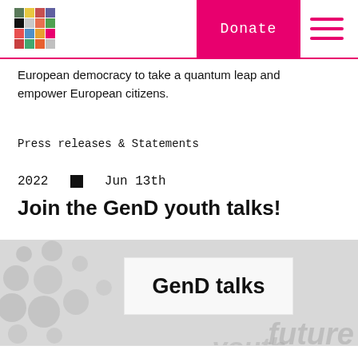Donate [navigation header with logo and hamburger menu]
European democracy to take a quantum leap and empower European citizens.
Press releases & Statements
2022 ■ Jun 13th
Join the GenD youth talks!
[Figure (illustration): GenD talks event banner with decorative circles on grey background and 'GenD talks' text in white box, with 'future' and 'youth' watermark text]
By continuing to browse the site, you are agreeing to our use of cookies as described in our cookie policy.